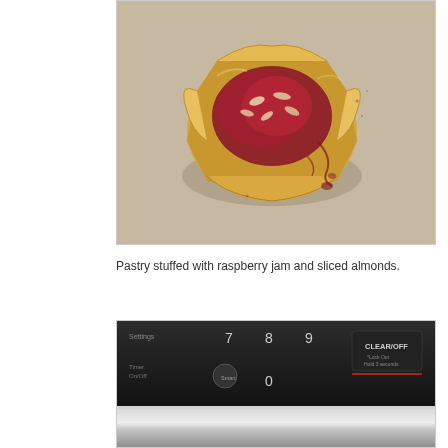[Figure (photo): Overhead photo of a baked pastry stuffed with raspberry jam and sliced almonds, placed on parchment paper. The pastry is golden brown with dark red jam spilling out around it.]
Pastry stuffed with raspberry jam and sliced almonds.
[Figure (photo): Close-up photo of an oven or appliance control panel showing numeric keypad buttons (7, 8, 9, 0, CLEAR/OFF, Timer On/Off, Start) with a stainless steel finish visible at the bottom.]